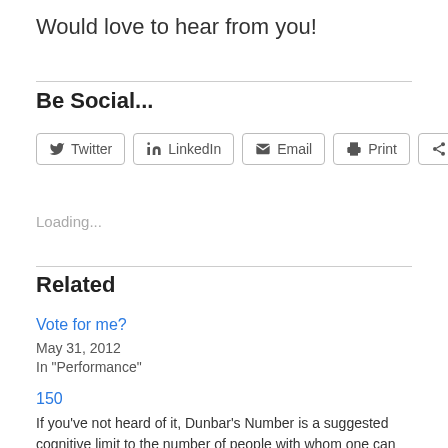Would love to hear from you!
Be Social...
[Figure (other): Social sharing buttons: Twitter, LinkedIn, Email, Print, More]
Loading...
Related
Vote for me?
May 31, 2012
In "Performance"
150
If you've not heard of it, Dunbar's Number is a suggested cognitive limit to the number of people with whom one can maintain stable social relationships. The argument is that individuals should limit